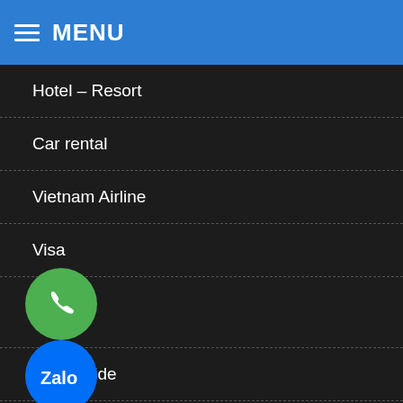MENU
Hotel – Resort
Car rental
Vietnam Airline
Visa
INFO
Travel guide
Travel experience
About us
Policy
[Figure (illustration): Three floating app icons: green phone/call icon, Zalo blue icon, Facebook Messenger blue icon]
[Figure (logo): Hamburger menu icon (three horizontal white lines)]